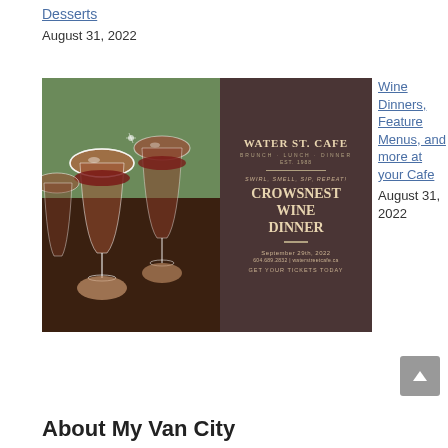Desserts
August 31, 2022
[Figure (photo): Promotional image for Water St. Cafe Crowsnest Wine Dinner on September 29th, 2022. Left half shows people toasting with red wine glasses; right half is a dark brown promotional card with text: WATER ST. CAFE, BRUNCH LUNCH DINNER, EST. 1988, SWIRL, SMELL, SIP, REPEAT!, CROWSNEST WINE DINNER, September 29th 2022, 604.689.2832 | waterstreetcafe.ca, GET YOUR TICKETS TODAY]
Wine Dinners, Feature Menus, and more at your Cafe
August 31, 2022
About My Van City